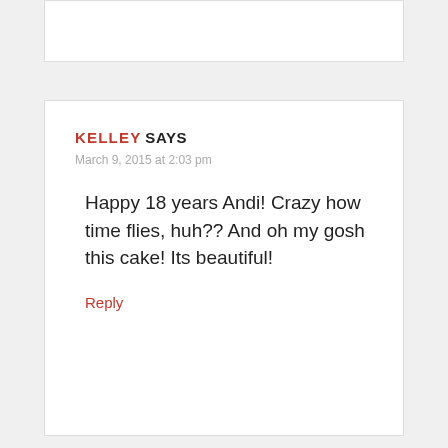KELLEY SAYS
March 9, 2015 at 2:03 pm
Happy 18 years Andi! Crazy how time flies, huh?? And oh my gosh this cake! Its beautiful!
Reply